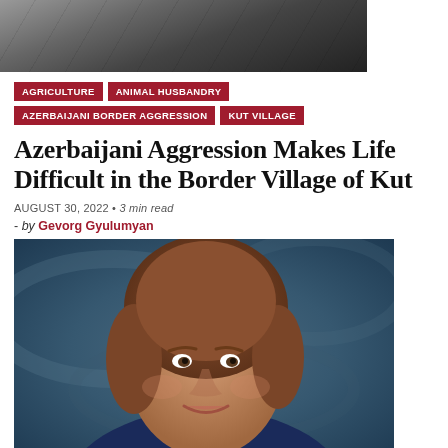[Figure (photo): Top image showing outdoor scene, partially cropped at top of page]
AGRICULTURE
ANIMAL HUSBANDRY
AZERBAIJANI BORDER AGGRESSION
KUT VILLAGE
Azerbaijani Aggression Makes Life Difficult in the Border Village of Kut
AUGUST 30, 2022 • 3 min read
- by Gevorg Gyulumyan
[Figure (photo): Portrait photo of a middle-aged woman with short brown hair, smiling, wearing a blue outfit, against a dark blue background]